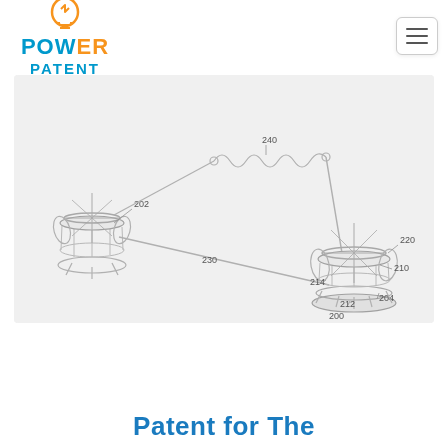POWER PATENT
[Figure (engineering-diagram): Patent engineering diagram showing two mechanical reel/spool assemblies connected by a coiled spring wire (component 240) and a straight connecting arm (component 230). Left assembly is labeled 202. Right assembly components are labeled: 200 (base), 204, 210, 212, 214, 220. The arm 230 connects left assembly to right, passing through the spring 240.]
Patent for The